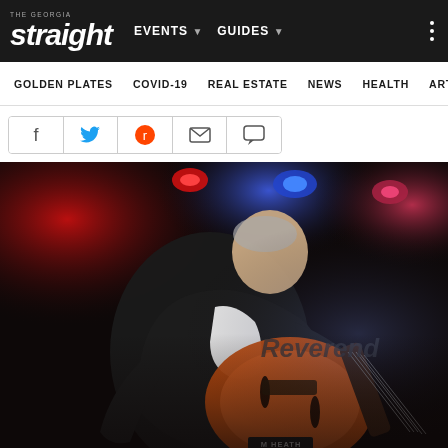The Georgia Straight — EVENTS | GUIDES
GOLDEN PLATES | COVID-19 | REAL ESTATE | NEWS | HEALTH | ARTS
[Figure (screenshot): Social share bar with Facebook, Twitter, Reddit, Email, and Comment icons]
[Figure (photo): Guitarist performing on stage under red and blue stage lights, playing an orange archtop guitar. In the background the word 'Reverend' is visible. The guitar strap tag reads 'M Heath'.]